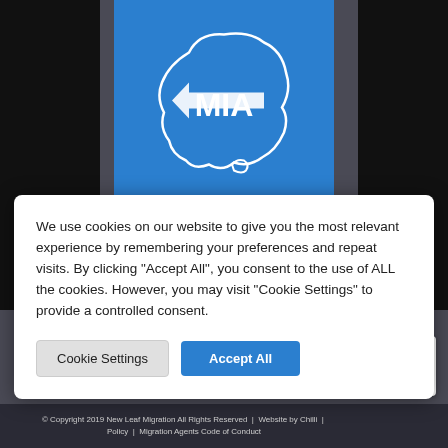[Figure (logo): MIA (Migration Institute of Australia) logo - white outline of Australian map with MIA text in white on blue background]
We use cookies on our website to give you the most relevant experience by remembering your preferences and repeat visits. By clicking "Accept All", you consent to the use of ALL the cookies. However, you may visit "Cookie Settings" to provide a controlled consent.
Cookie Settings | Accept All
1386798
www.mara.gov.au
[Figure (logo): reCAPTCHA logo with Privacy - Terms text]
© Copyright 2019 New Leaf Migration All Rights Reserved  |  Website by Chilli  |  Policy  |  Migration Agents Code of Conduct